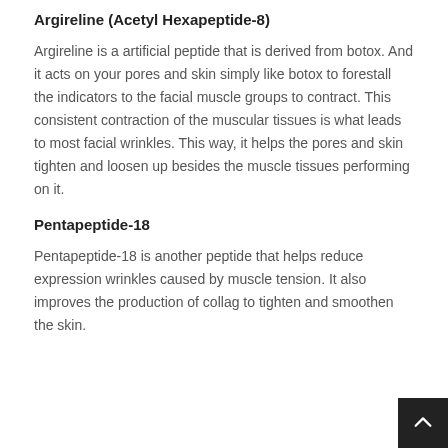Argireline (Acetyl Hexapeptide-8)
Argireline is a artificial peptide that is derived from botox. And it acts on your pores and skin simply like botox to forestall the indicators to the facial muscle groups to contract. This consistent contraction of the muscular tissues is what leads to most facial wrinkles. This way, it helps the pores and skin tighten and loosen up besides the muscle tissues performing on it.
Pentapeptide-18
Pentapeptide-18 is another peptide that helps reduce expression wrinkles caused by muscle tension. It also improves the production of collag… to tighten and smoothen the skin.